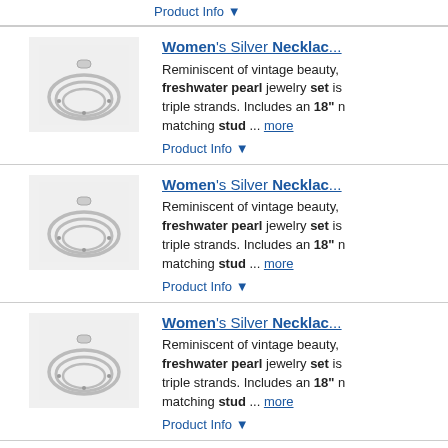Product Info ▼
[Figure (photo): Women's silver pearl necklace set product thumbnail]
Women's Silver Necklace... Reminiscent of vintage beauty, freshwater pearl jewelry set is triple strands. Includes an 18" matching stud ... more
Product Info ▼
[Figure (photo): Women's silver pearl necklace set product thumbnail]
Women's Silver Necklace... Reminiscent of vintage beauty, freshwater pearl jewelry set is triple strands. Includes an 18" matching stud ... more
Product Info ▼
[Figure (photo): Women's silver pearl necklace set product thumbnail]
Women's Silver Necklace... Reminiscent of vintage beauty, freshwater pearl jewelry set is triple strands. Includes an 18" matching stud ... more
Product Info ▼
[Figure (photo): Coach Jewelry necklace product thumbnail]
Coach Jewelry | Coach H... New With Tags A Brand-New, U... Items) In The Original Packagi... The Original Tags Attached.- S 16 + 2 ... more